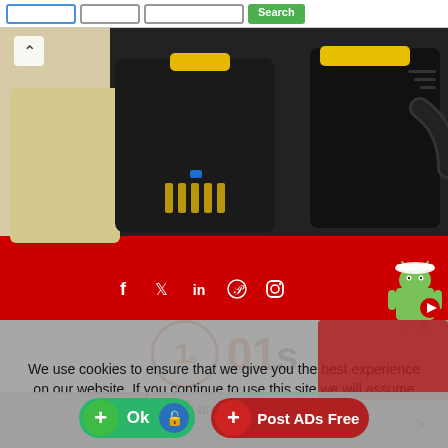[Figure (screenshot): Top search bar with text inputs and green Search button]
[Figure (photo): Product photo showing industrial connectors/cable assemblies with yellow and black housing on beige/dark background, with red band at bottom]
[Figure (infographic): Red social media bar with Facebook, Twitter, LinkedIn, Pinterest, Instagram icons in white, plus Android mascot icon on right]
[Figure (logo): 01s website logo: circle with 1s inside in orange border, followed by text '01s' in orange and dark letters]
We use cookies to ensure that we give you the best experience on our website. If you continue to use this site we will assume that you are happy with it.
[Figure (infographic): Bottom action bar with green Ok button (plus and lock icons) and red Post ADs Free button]